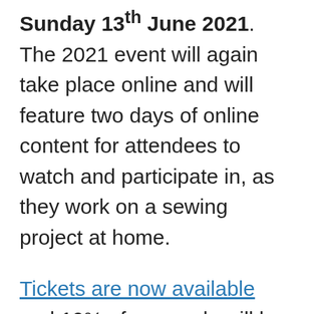Sunday 13th June 2021. The 2021 event will again take place online and will feature two days of online content for attendees to watch and participate in, as they work on a sewing project at home.
Tickets are now available and 10% of proceeds will be donated to the charities The Black Curriculum, Refuge and Fine Cell Work. You'll love line up of presenters listed on the schedule.
Have a look at the schedule for this year's Sewing Weekender. Grab your ticket today. Know that your ticket gets you into all the